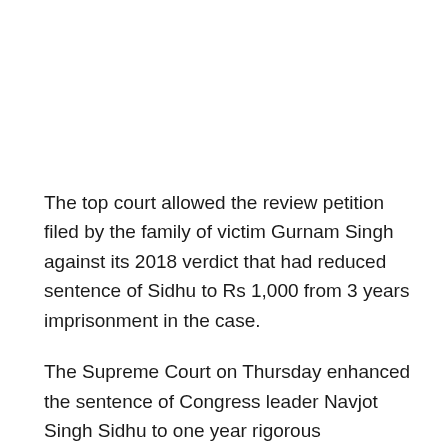The top court allowed the review petition filed by the family of victim Gurnam Singh against its 2018 verdict that had reduced sentence of Sidhu to Rs 1,000 from 3 years imprisonment in the case.
The Supreme Court on Thursday enhanced the sentence of Congress leader Navjot Singh Sidhu to one year rigorous imprisonment in a 1988 road rage accident in which one person had died.